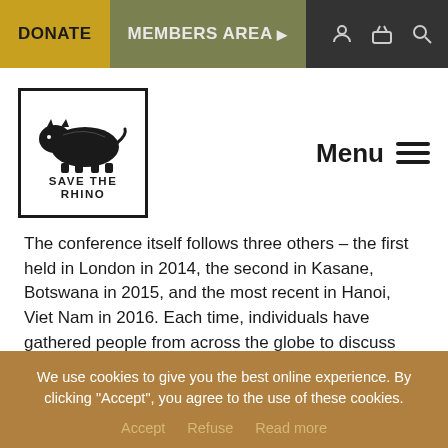DONATE  MEMBERS AREA ▶
[Figure (logo): Save the Rhino logo — black and white illustration of a rhino with text SAVE THE RHINO]
Menu ≡
The conference itself follows three others – the first held in London in 2014, the second in Kasane, Botswana in 2015, and the most recent in Hanoi, Viet Nam in 2016. Each time, individuals have gathered people from across the globe to discuss IWT in the hope of improving international collaboration.
While all conferences have differed in their specific goals, each has concluded with a statement (or declaration)
We use cookies to give you the best online experience. By clicking "Accept", you agree to the use of these cookies.
Accept  Refuse  Read more